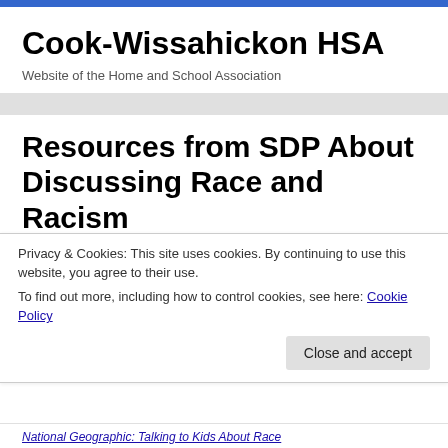Cook-Wissahickon HSA
Website of the Home and School Association
Resources from SDP About Discussing Race and Racism
The following resources about race, racism, and anti-racism were shared with School District of Philadelphia staff to encourage and support crucial conversations about
Privacy & Cookies: This site uses cookies. By continuing to use this website, you agree to their use.
To find out more, including how to control cookies, see here: Cookie Policy
National Geographic: Talking to Kids About Race